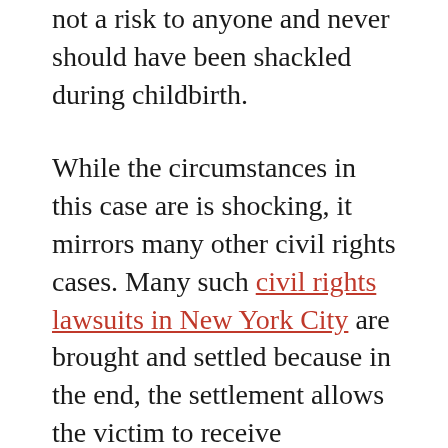not a risk to anyone and never should have been shackled during childbirth.
While the circumstances in this case are is shocking, it mirrors many other civil rights cases. Many such civil rights lawsuits in New York City are brought and settled because in the end, the settlement allows the victim to receive compensation without a lengthy trial (or the risk of losing a trial) and at the same time allows the City to acknowledge the incident without accepting blame for it.
If you have had your rights violated and feel you're entitled to compensation, you need an expert civil rights attorney in New York City on your side. Contact the dedicated team of legal professionals at the Law Offices of Nussin S. Fogel today. Call 800-